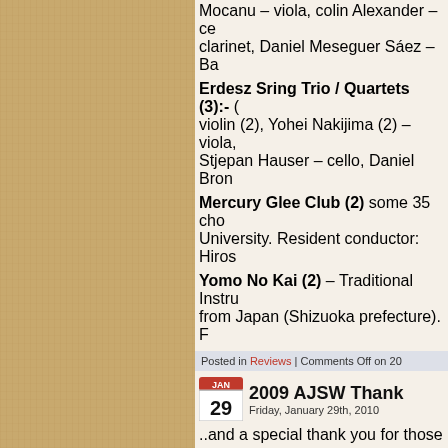Mocanu – viola, colin Alexander – ce clarinet, Daniel Meseguer Sáez – Ba
Erdesz Sring Trio / Quartets (3):- ( violin (2), Yohei Nakijima (2) – viola, Stjepan Hauser – cello, Daniel Bron
Mercury Glee Club (2) some 35 cho University. Resident conductor: Hiros
Yomo No Kai (2) – Traditional Instru from Japan (Shizuoka prefecture). F
Posted in Reviews | Comments Off on 20
2009 AJSW Thank
Friday, January 29th, 2010
..and a special thank you for those w times for so many where the good-w music made life a little lighter and ha
In memorandum of Mikio Abé who di brief friendship.
There were over 60 concerts organis programme including many Japanes worlds.
Japan Airlines Supporting Sponso
Donations:- Donald Scannell